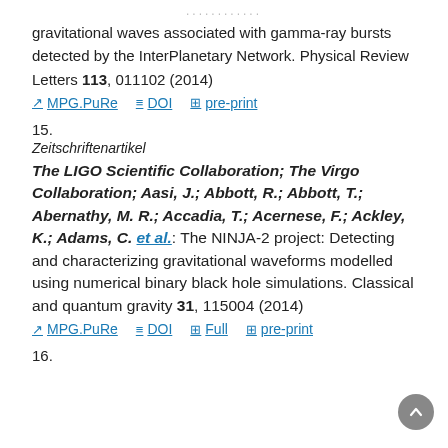gravitational waves associated with gamma-ray bursts detected by the InterPlanetary Network. Physical Review Letters 113, 011102 (2014)
MPG.PuRe | DOI | pre-print
15.
Zeitschriftenartikel
The LIGO Scientific Collaboration; The Virgo Collaboration; Aasi, J.; Abbott, R.; Abbott, T.; Abernathy, M. R.; Accadia, T.; Acernese, F.; Ackley, K.; Adams, C. et al.: The NINJA-2 project: Detecting and characterizing gravitational waveforms modelled using numerical binary black hole simulations. Classical and quantum gravity 31, 115004 (2014)
MPG.PuRe | DOI | Full | pre-print
16.